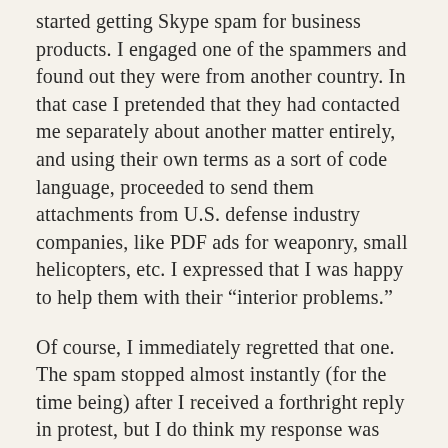started getting Skype spam for business products. I engaged one of the spammers and found out they were from another country. In that case I pretended that they had contacted me separately about another matter entirely, and using their own terms as a sort of code language, proceeded to send them attachments from U.S. defense industry companies, like PDF ads for weaponry, small helicopters, etc. I expressed that I was happy to help them with their “interior problems.”
Of course, I immediately regretted that one. The spam stopped almost instantly (for the time being) after I received a forthright reply in protest, but I do think my response was overkill. I shudder to think that my response to a telemarketer could have resulted in some (semi-)innocent person being marked as a